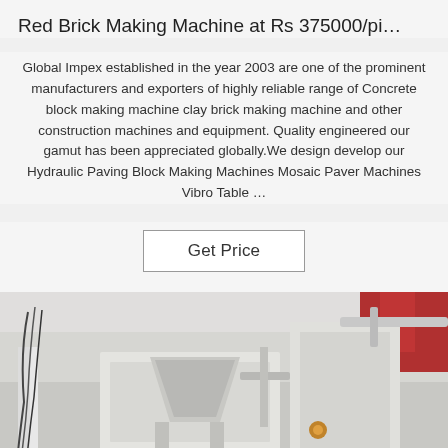Red Brick Making Machine at Rs 375000/pi…
Global Impex established in the year 2003 are one of the prominent manufacturers and exporters of highly reliable range of Concrete block making machine clay brick making machine and other construction machines and equipment. Quality engineered our gamut has been appreciated globally.We design develop our Hydraulic Paving Block Making Machines Mosaic Paver Machines Vibro Table …
[Figure (other): Get Price button — a rectangular bordered button with text 'Get Price' on white background]
[Figure (photo): Photograph of a red brick making machine / industrial construction machinery in a factory setting, showing white metal frames, conveyor and mechanical components, with red and green accents, blue glow at bottom left]